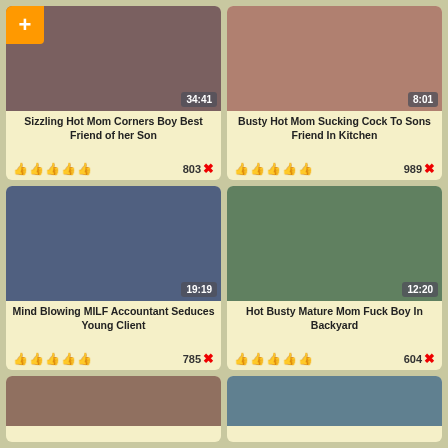[Figure (screenshot): Video thumbnail grid showing adult video titles with thumbnails, durations, thumbs-up ratings and dislike counts]
Sizzling Hot Mom Corners Boy Best Friend of her Son
803
Busty Hot Mom Sucking Cock To Sons Friend In Kitchen
989
Mind Blowing MILF Accountant Seduces Young Client
785
Hot Busty Mature Mom Fuck Boy In Backyard
604